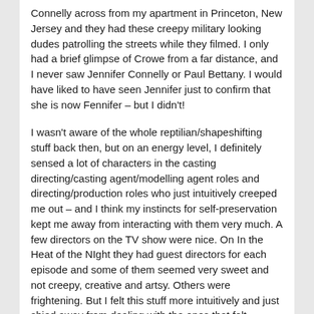Connelly across from my apartment in Princeton, New Jersey and they had these creepy military looking dudes patrolling the streets while they filmed. I only had a brief glimpse of Crowe from a far distance, and I never saw Jennifer Connelly or Paul Bettany. I would have liked to have seen Jennifer just to confirm that she is now Fennifer – but I didn't!
I wasn't aware of the whole reptilian/shapeshifting stuff back then, but on an energy level, I definitely sensed a lot of characters in the casting directing/casting agent/modelling agent roles and directing/production roles who just intuitively creeped me out – and I think my instincts for self-preservation kept me away from interacting with them very much. A few directors on the TV show were nice. On In the Heat of the NIght they had guest directors for each episode and some of them seemed very sweet and not creepy, creative and artsy. Others were frightening. But I felt this stuff more intuitively and just shied away from dealing with the ones that felt "wrong." In retrospect, given how naive I was in other